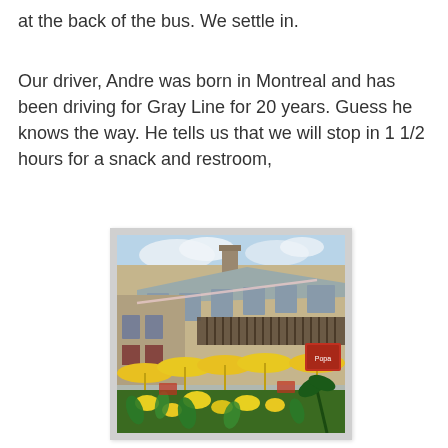at the back of the bus. We settle in.
Our driver, Andre was born in Montreal and has been driving for Gray Line for 20 years. Guess he knows the way. He tells us that we will stop in 1 1/2 hours for a snack and restroom,
[Figure (photo): Outdoor cafe or restaurant scene in an old Quebec-style stone building. Yellow umbrellas and colorful flowers in the foreground, old stone building with ornate iron balcony in background under a partly cloudy sky.]